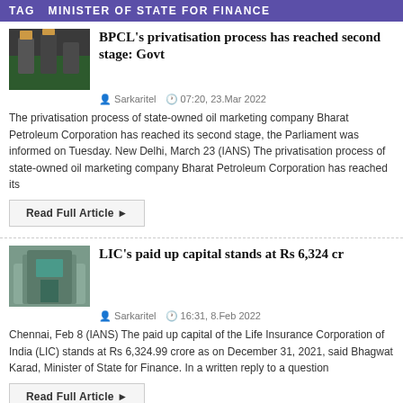TAG  MINISTER OF STATE FOR FINANCE
BPCL's privatisation process has reached second stage: Govt
Sarkaritel   07:20, 23.Mar 2022
The privatisation process of state-owned oil marketing company Bharat Petroleum Corporation has reached its second stage, the Parliament was informed on Tuesday. New Delhi, March 23 (IANS) The privatisation process of state-owned oil marketing company Bharat Petroleum Corporation has reached its
Read Full Article ▸
LIC's paid up capital stands at Rs 6,324 cr
Sarkaritel   16:31, 8.Feb 2022
Chennai, Feb 8 (IANS) The paid up capital of the Life Insurance Corporation of India (LIC) stands at Rs 6,324.99 crore as on December 31, 2021, said Bhagwat Karad, Minister of State for Finance. In a written reply to a question
Read Full Article ▸
Budget sees more allocation for fisheries